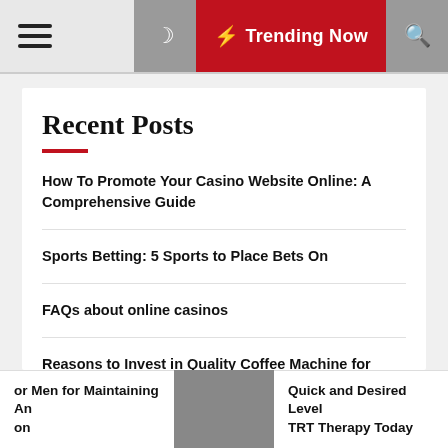Trending Now
Recent Posts
How To Promote Your Casino Website Online: A Comprehensive Guide
Sports Betting: 5 Sports to Place Bets On
FAQs about online casinos
Reasons to Invest in Quality Coffee Machine for Your Office
(partial title cut off)
or Men for Maintaining An on | Quick and Desired Level TRT Therapy Today